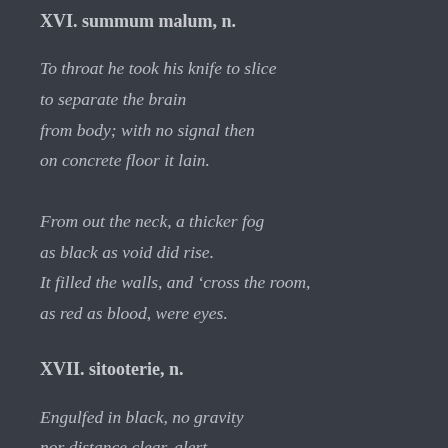XVI. summum malum, n.
To throat he took his knife to slice
to separate the brain
from body; with no signal then
on concrete floor it lain.
From out the neck, a thicker fog
as black as void did rise.
It filled the walls, and ‘cross the room,
as red as blood, were eyes.
XVII. sitooterie, n.
Engulfed in black, no gravity
nor distance clear, alert